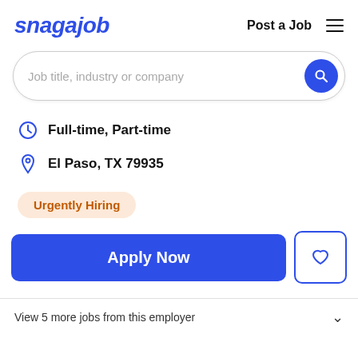[Figure (logo): Snagajob logo in blue italic bold text]
Post a Job
[Figure (infographic): Hamburger menu icon (three horizontal lines)]
[Figure (screenshot): Search bar with placeholder text 'Job title, industry or company' and blue search button]
Full-time, Part-time
El Paso, TX 79935
Urgently Hiring
Apply Now
View 5 more jobs from this employer